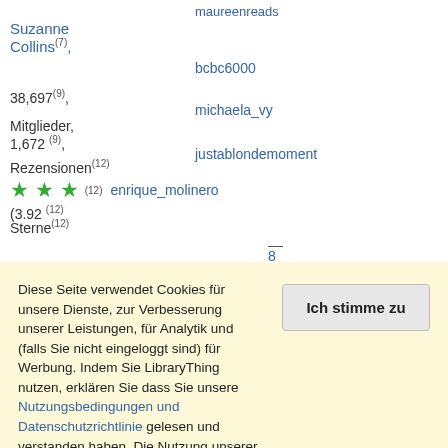maureenreads
Suzanne Collins (7),
bcbc6000
38,697(9),
michaela_vy
Mitglieder, 1,672 (9),
justablondemoment
Rezensionen (12)
★★★ (12) enrique_molinero
(3.92 Sterne) (12)
—
8
mehr
Daumen runter: Bookslesstravelled,
Diese Seite verwendet Cookies für unsere Dienste, zur Verbesserung unserer Leistungen, für Analytik und (falls Sie nicht eingeloggt sind) für Werbung. Indem Sie LibraryThing nutzen, erklären Sie dass Sie unsere Nutzungsbedingungen und Datenschutzrichtlinie gelesen und verstanden haben. Die Nutzung unserer Webseite und Dienste unterliegt diesen Richtlinien und Geschäftsbedingungen.
Ich stimme zu